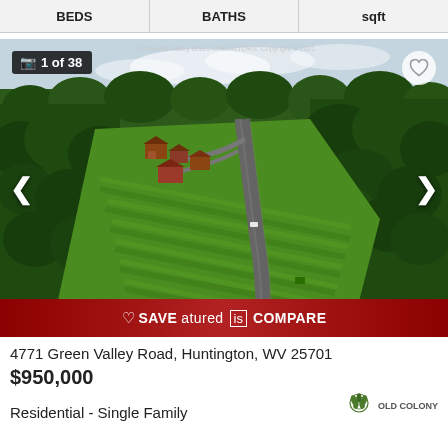BEDS | BATHS | sqft
[Figure (photo): Aerial drone photo of a rural property at 4771 Green Valley Road, Huntington, WV. Shows farmhouses and outbuildings in a green field surrounded by trees, with a winding road through the landscape. Watermark: © Kanawha Valley Board of REALTORS. Copyright © 2021. Overlay shows '1 of 38' photo counter badge, navigation arrows, heart/save button, and a dark red bottom bar with SAVE, Featured, is, COMPARE controls.]
4771 Green Valley Road, Huntington, WV 25701
$950,000
Residential - Single Family